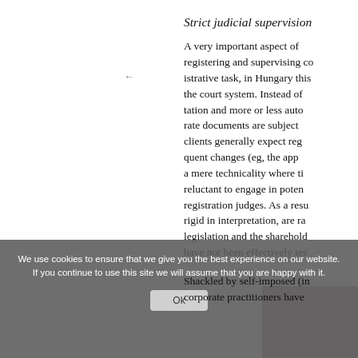Strict judicial supervision
A very important aspect of registering and supervising corporate administrative task, in Hungary this is assigned to the court system. Instead of mere documentation and more or less automatic registration, corporate documents are subject to judicial scrutiny; clients generally expect registration of frequent changes (eg, the appointment of directors) is a mere technicality where time is wasted, are reluctant to engage in potential disputes with registration judges. As a result, registration judges, rigid in interpretation, are rarely familiar with legislation and the shareholder agreements, have not been effectively tested.
Shackled by self-imposed (internal) rules, corporate practitioners have
We use cookies to ensure that we give you the best experience on our website. If you continue to use this site we will assume that you are happy with it.